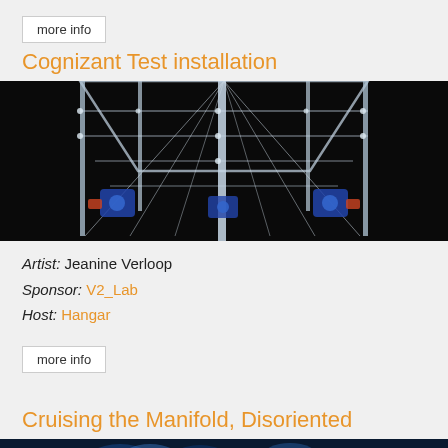more info
Cognizant Test installation
[Figure (photo): Robotic art installation made of clear acrylic/plexiglass tubes and rods with servo motors, photographed against a black background. The structure resembles a humanoid or skeletal form with mechanical joints.]
Artist: Jeanine Verloop
Sponsor: V2_Lab
Host: Hangar
more info
Cruising the Manifold, Disoriented
[Figure (photo): Partial view of a photo showing people with blue lighting, likely a performance or installation scene.]